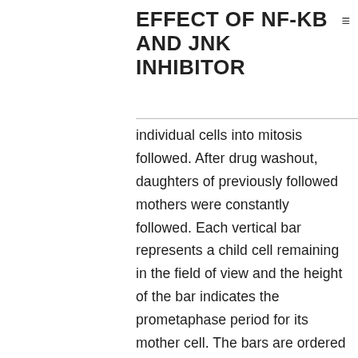EFFECT OF NF-KB AND JNK INHIBITOR
individual cells into mitosis followed. After drug washout, daughters of previously followed mothers were constantly followed. Each vertical bar represents a child cell remaining in the field of view and the height of the bar indicates the prometaphase period for its mother cell. The bars are ordered by the duration of prometaphase for the mother cells. Daughters that proliferated are proven as light-colored pubs, and the ones that imprisoned in G1 are proven as dark shaded pubs. The vertical dashed series signifies the prometaphase duration from the mom